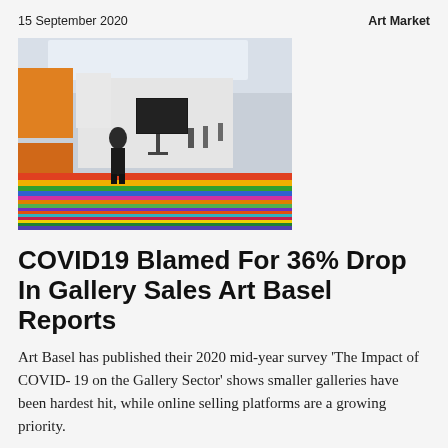15 September 2020   Art Market
[Figure (photo): Interior of an art fair gallery with colorful striped floor, people walking, paintings on white walls, and a TV screen on a stand in the center.]
COVID19 Blamed For 36% Drop In Gallery Sales Art Basel Reports
Art Basel has published their 2020 mid-year survey 'The Impact of COVID-19 on the Gallery Sector' shows smaller galleries have been hardest hit, while online selling platforms are a growing priority.